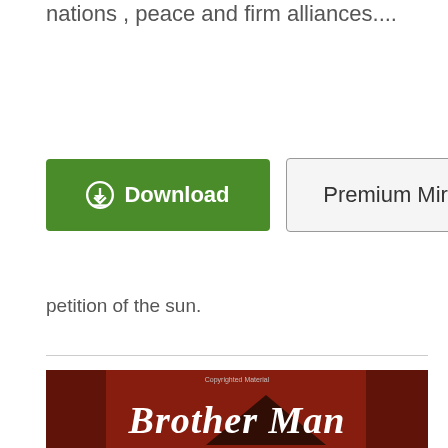nations , peace and firm alliances....
[Figure (screenshot): Two buttons: green Download button with download icon, and Premium Mirror button with gray border]
petition of the sun.
[Figure (photo): Book cover image for 'Brother Man' in gothic lettering on a dark red background with a building silhouette, with 'Copyrighted Material' watermark]